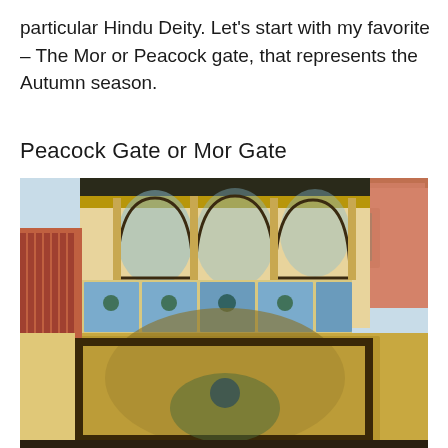particular Hindu Deity. Let's start with my favorite – The Mor or Peacock gate, that represents the Autumn season.
Peacock Gate or Mor Gate
[Figure (photo): Close-up photograph of the ornate Peacock Gate (Mor Gate) at Jaipur City Palace, showing intricate tile work with peacock motifs, decorative arches, balconies with blue and white painted panels, and elaborate Mughal-Rajput architectural details against a pale yellow and terracotta facade.]